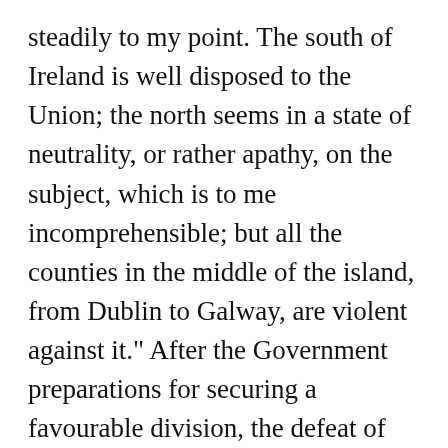steadily to my point. The south of Ireland is well disposed to the Union; the north seems in a state of neutrality, or rather apathy, on the subject, which is to me incomprehensible; but all the counties in the middle of the island, from Dublin to Galway, are violent against it." After the Government preparations for securing a favourable division, the defeat of the measure in the Commons by 106 to 105, on 23rd January 1799, was a surprise and mortification to them. It was approved by the Lords by 52 to 16. It was decided not to bring forward the question again the same session, but to proceed vigorously in the purchase of votes, and await the first favourable opportunity. (26th Jan.)